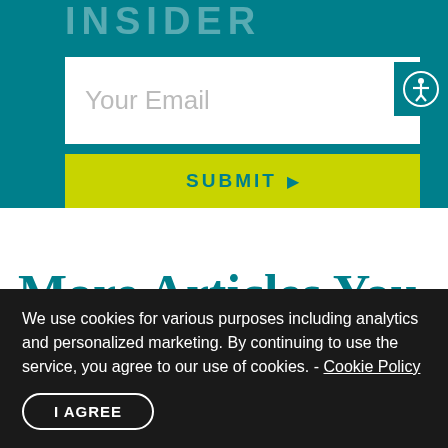[Figure (screenshot): Teal background header section with partially visible 'INSIDER' text in faded white uppercase letters]
Your Email
SUBMIT ▶
[Figure (illustration): Accessibility icon button — person with outstretched arms in a circle on teal background]
More Articles You May
We use cookies for various purposes including analytics and personalized marketing. By continuing to use the service, you agree to our use of cookies. - Cookie Policy
I AGREE